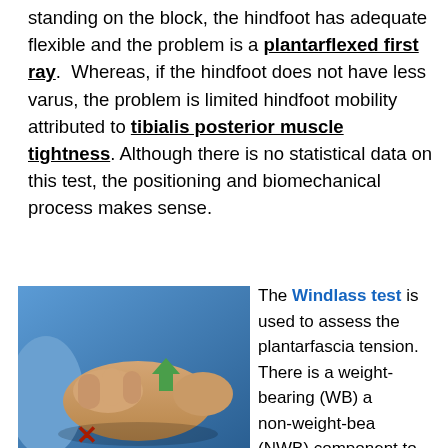standing on the block, the hindfoot has adequate flexible and the problem is a plantarflexed first ray. Whereas, if the hindfoot does not have less varus, the problem is limited hindfoot mobility attributed to tibialis posterior muscle tightness. Although there is no statistical data on this test, the positioning and biomechanical process makes sense.
[Figure (photo): A medical/clinical photograph showing hands performing the Windlass test on a foot. Hands are grasping a foot against a blue background. Green arrow and red X markers visible on the foot.]
The Windlass test is used to assess the plantarfascia tension. There is a weight-bearing (WB) and non-weight-bearing (NWB) component to